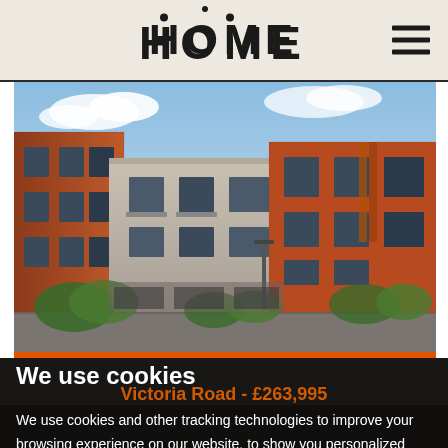HOME
[Figure (photo): Modern residential apartment building with red brick facade, large windows, balconies, and green trees in front under a blue sky]
Victoria Road - £263,995
We use cookies
We use cookies and other tracking technologies to improve your browsing experience on our website, to show you personalized content and targeted ads, to